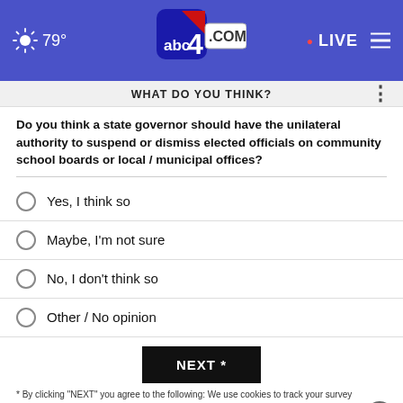79° abc4.com • LIVE
WHAT DO YOU THINK?
Do you think a state governor should have the unilateral authority to suspend or dismiss elected officials on community school boards or local / municipal offices?
Yes, I think so
Maybe, I'm not sure
No, I don't think so
Other / No opinion
NEXT *
* By clicking "NEXT" you agree to the following: We use cookies to track your survey answers. If you would like to continue with this survey please read and agree to the CivicScience Privacy Policy and Terms of
[Figure (screenshot): SHE CAN STEM advertisement banner in dark background with bold white text]